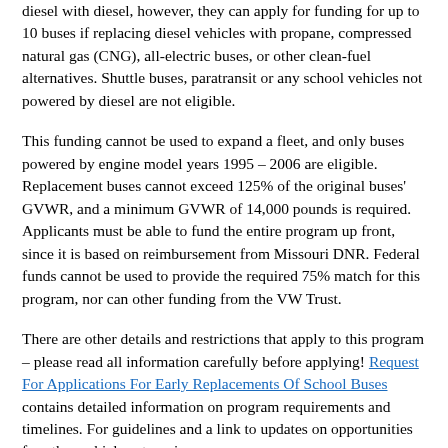diesel with diesel, however, they can apply for funding for up to 10 buses if replacing diesel vehicles with propane, compressed natural gas (CNG), all-electric buses, or other clean-fuel alternatives. Shuttle buses, paratransit or any school vehicles not powered by diesel are not eligible.
This funding cannot be used to expand a fleet, and only buses powered by engine model years 1995 – 2006 are eligible. Replacement buses cannot exceed 125% of the original buses' GVWR, and a minimum GVWR of 14,000 pounds is required. Applicants must be able to fund the entire program up front, since it is based on reimbursement from Missouri DNR. Federal funds cannot be used to provide the required 75% match for this program, nor can other funding from the VW Trust.
There are other details and restrictions that apply to this program – please read all information carefully before applying! Request For Applications For Early Replacements Of School Buses contains detailed information on program requirements and timelines. For guidelines and a link to updates on opportunities for other vehicle categories,